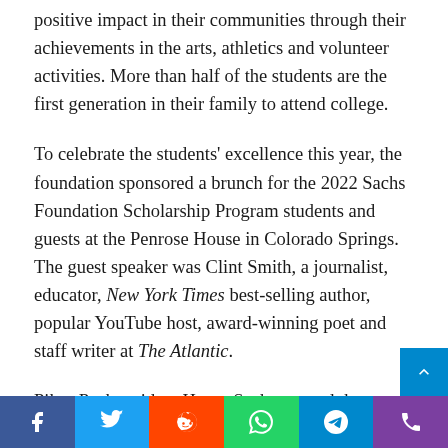positive impact in their communities through their achievements in the arts, athletics and volunteer activities. More than half of the students are the first generation in their family to attend college.
To celebrate the students' excellence this year, the foundation sponsored a brunch for the 2022 Sachs Foundation Scholarship Program students and guests at the Penrose House in Colorado Springs. The guest speaker was Clint Smith, a journalist, educator, New York Times best-selling author, popular YouTube host, award-winning poet and staff writer at The Atlantic.
Pikes Peak resident Henry Sachs created the foundation during the Great Depression, awarding the first Sachs Foundation scholarship to Dolphus Stroud, whose family…